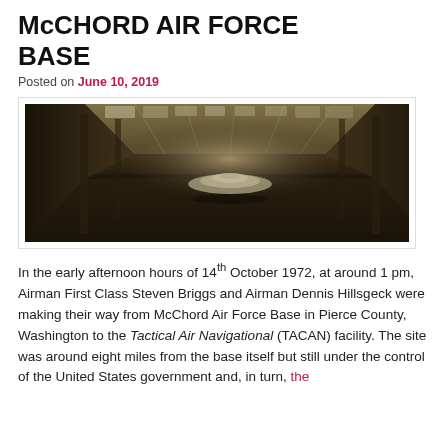McCHORD AIR FORCE BASE
Posted on June 10, 2019
[Figure (photo): Interior of a large abandoned industrial hangar with a UFO/flying saucer craft visible in the center distance. High ceiling with skylights letting in light, dark and atmospheric.]
In the early afternoon hours of 14th October 1972, at around 1 pm, Airman First Class Steven Briggs and Airman Dennis Hillsgeck were making their way from McChord Air Force Base in Pierce County, Washington to the Tactical Air Navigational (TACAN) facility. The site was around eight miles from the base itself but still under the control of the United States government and, in turn, the